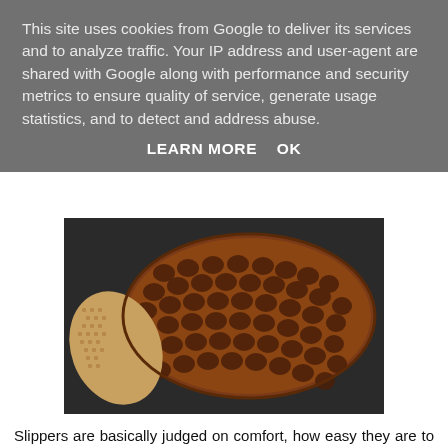This site uses cookies from Google to deliver its services and to analyze traffic. Your IP address and user-agent are shared with Google along with performance and security metrics to ensure quality of service, generate usage statistics, and to detect and address abuse.
LEARN MORE   OK
[Figure (photo): Close-up photograph of the bottom sole of a brown slipper showing a repetitive textured pattern, with the inner mesh insole visible beside it, placed on a dark surface.]
Slippers are basically judged on comfort, how easy they are to walk in and whether they keep your feet warm and dry. I'm happy to report that wearing these is like slipping your feet into two clouds, it is comfort personified. The sheepskin feels like silk